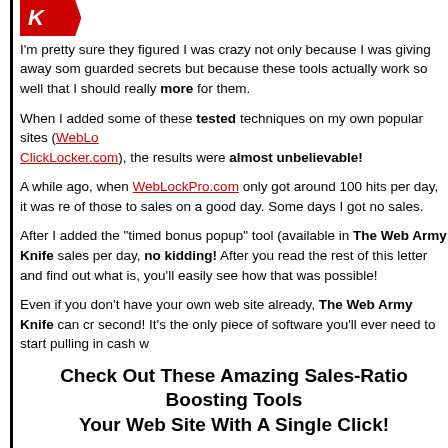[Figure (logo): Red banner/logo image partially visible at top]
I'm pretty sure they figured I was crazy not only because I was giving away some well guarded secrets but because these tools actually work so well that I should really charge more for them.
When I added some of these tested techniques on my own popular sites (WebLockPro.com, ClickLocker.com), the results were almost unbelievable!
A while ago, when WebLockPro.com only got around 100 hits per day, it was re- of those to sales on a good day. Some days I got no sales.
After I added the "timed bonus popup" tool (available in The Web Army Knife sales per day, no kidding! After you read the rest of this letter and find out what is, you'll easily see how that was possible!
Even if you don't have your own web site already, The Web Army Knife can cr second! It's the only piece of software you'll ever need to start pulling in cash wi
Check Out These Amazing Sales-Ratio Boosting Tools Your Web Site With A Single Click!
One of the best features of The Web Army Knife is the fact that it requires abso experience! After you load it up, you'll be able to add any of it's seemingly-mag in a matter of seconds! It does all the hard programming work for you!
You'll be able to add the following ground breaking, revolutionary tools to you results in seconds (Yes, All of these tools are included in the amazing Web Arm